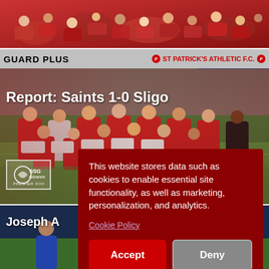[Figure (photo): Crowd of fans in red, partial view at top of page]
[Figure (photo): St Patrick's Athletic FC team photo on pitch with stadium signage 'GUARD PLUS' and 'ST PATRICK'S ATHLETIC F.C.' banner visible]
Report: Saints 1-0 Sligo
[Figure (photo): Player identified as Joseph, partial view at bottom, dark blue kit]
This website stores data such as cookies to enable essential site functionality, as well as marketing, personalization, and analytics.
Cookie Policy
Accept
Deny